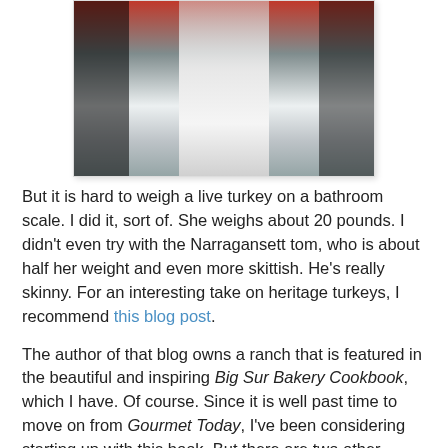[Figure (photo): A photo showing what appears to be a stream or waterfall of white/light colored material between dark rocky or wooden sides, with reddish coloring at the top.]
But it is hard to weigh a live turkey on a bathroom scale. I did it, sort of. She weighs about 20 pounds. I didn't even try with the Narragansett tom, who is about half her weight and even more skittish. He's really skinny. For an interesting take on heritage turkeys, I recommend this blog post.
The author of that blog owns a ranch that is featured in the beautiful and inspiring Big Sur Bakery Cookbook, which I have. Of course. Since it is well past time to move on from Gourmet Today, I've been considering starting up with this book. But there are two other strong contenders. Here's the lineup:
-The Big Sur Bakery Cookbook (California cuisine; very concerned with purveyors; lots of text; seasonally organized)